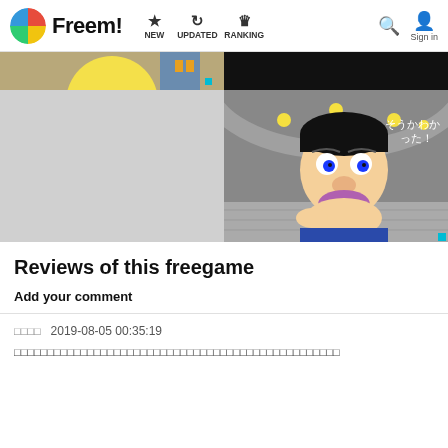Freem! NEW UPDATED RANKING Sign in
[Figure (screenshot): Left partial screenshot of game with yellow cartoon character on tan/blue background]
[Figure (screenshot): Right screenshot of game showing a cartoon man with mustache in a blue uniform in a sci-fi corridor with Japanese text そうかわかった！]
[Figure (screenshot): Left grey placeholder image]
[Figure (screenshot): Right game screenshot showing cartoon man with mustache in sci-fi corridor]
Reviews of this freegame
Add your comment
□□□□  2019-08-05 00:35:19
□□□□□□□□□□□□□□□□□□□□□□□□□□□□□□□□□□□□□□□□□□□□□□